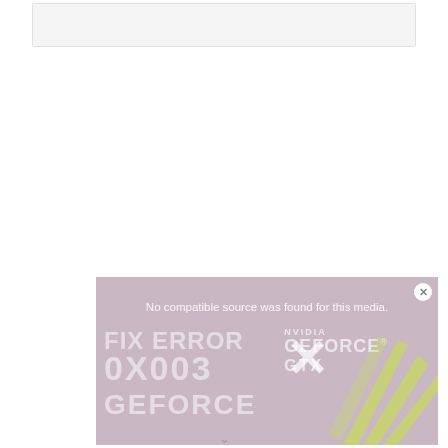[Figure (screenshot): Gray/light background placeholder box at top of page, representing a video or content area header]
[Figure (screenshot): Video player overlay showing 'No compatible source was found for this media.' message, overlaid on a NVIDIA GeForce GTX advertisement with text 'FIX ERROR 0X003' and 'GEFORCE', with a close button (X) in the top right corner and a yellow/green angular chevron graphic on the right side.]